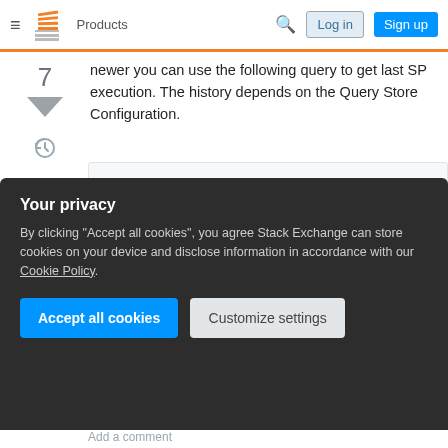≡  [Stack Overflow logo]  Products  🔍  Log in  Sign up
7 — newer you can use the following query to get last SP execution. The history depends on the Query Store Configuration.
[Figure (screenshot): SQL code block showing a SELECT query using sys.query_store_query with INNER JOINs on sys.objects and sys.schemas]
Your privacy
By clicking "Accept all cookies", you agree Stack Exchange can store cookies on your device and disclose information in accordance with our Cookie Policy.
Accept all cookies   Customize settings
Add a comment